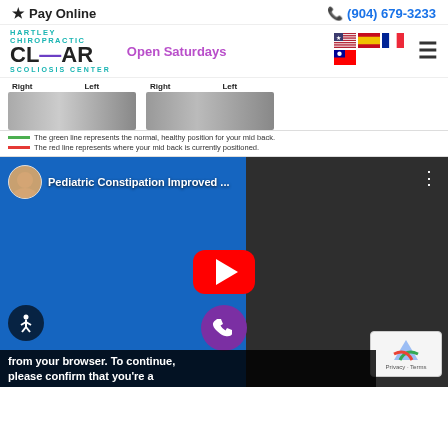Pay Online | (904) 679-3233
[Figure (screenshot): Hartley Chiropractic CLEAR Scoliosis Center logo with Open Saturdays text and flag icons]
[Figure (infographic): Spine X-ray comparison showing Right/Left labels, green line for normal healthy position and red line for current mid back position]
The green line represents the normal, healthy position for your mid back. The red line represents where your mid back is currently positioned.
[Figure (screenshot): YouTube video thumbnail: Pediatric Constipation Improved ... - shows chiropractor treating a patient, with red YouTube play button overlay]
from your browser. To continue, please confirm that you’re a